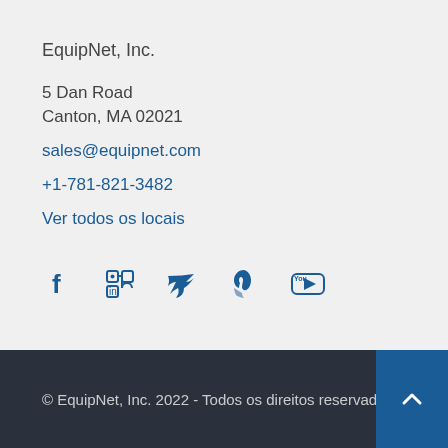EquipNet, Inc.
5 Dan Road
Canton, MA 02021
sales@equipnet.com
+1-781-821-3482
Ver todos os locais
[Figure (infographic): Row of social media icons: Facebook, LinkedIn, Twitter, Pinterest, YouTube]
© EquipNet, Inc. 2022 - Todos os direitos reservados